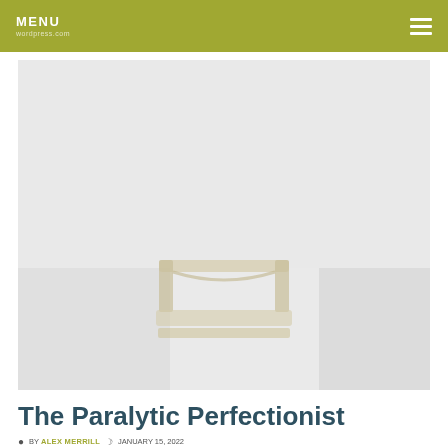MENU
[Figure (photo): Faded/washed-out hero image with light gray tones, showing what appears to be an inbox tray or book icon in the lower center portion of the image]
The Paralytic Perfectionist
BY ALEX MERRILL   JANUARY 15, 2022